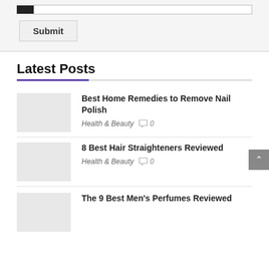[Figure (screenshot): Input bar with black filled section and white input field, plus a Submit button below it]
Latest Posts
Best Home Remedies to Remove Nail Polish
Health & Beauty  0
8 Best Hair Straighteners Reviewed
Health & Beauty  0
The 9 Best Men's Perfumes Reviewed